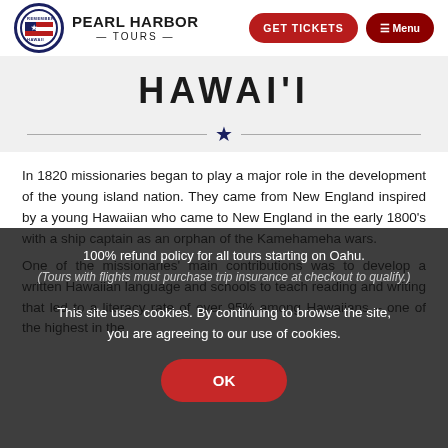PEARL HARBOR TOURS
HAWAI'I
In 1820 missionaries began to play a major role in the development of the young island nation. They came from New England inspired by a young Hawaiian who came to New England in the early 1800's with a ship captain as an orphan of the Kamehameha wars.
100% refund policy for all tours starting on Oahu. (Tours with flights must purchase trip insurance at checkout to qualify.)
This site uses cookies. By continuing to browse the site, you are agreeing to our use of cookies.
One of the missionaries' main contributions was to develop a written Hawaiian language and schools to teach reading and writing that led to a literacy rate of over 95% among Hawaiians – one of the highest in the